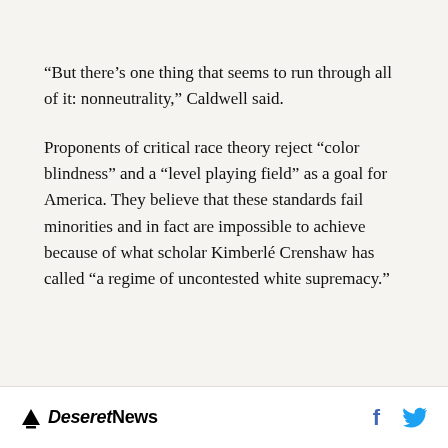“But there’s one thing that seems to run through all of it: nonneutrality,” Caldwell said.
Proponents of critical race theory reject “color blindness” and a “level playing field” as a goal for America. They believe that these standards fail minorities and in fact are impossible to achieve because of what scholar Kimberlé Crenshaw has called “a regime of uncontested white supremacy.”
Deseret News